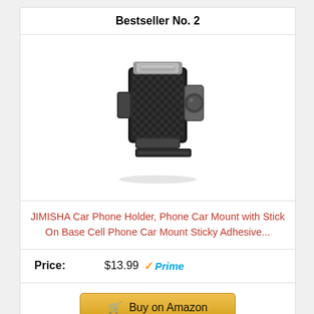Bestseller No. 2
[Figure (photo): JIMISHA car phone holder mount product photo - black carbon fiber style phone mount with clamp arms]
JIMISHA Car Phone Holder, Phone Car Mount with Stick On Base Cell Phone Car Mount Sticky Adhesive...
Price: $13.99 Prime
Buy on Amazon